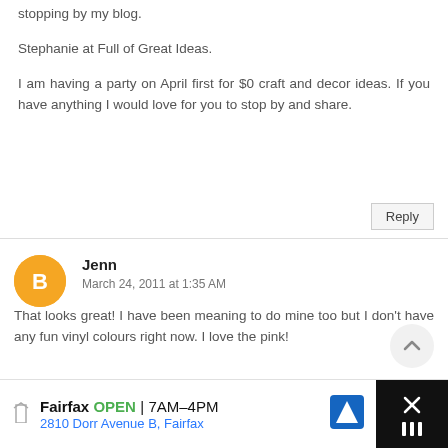stopping by my blog.
Stephanie at Full of Great Ideas.
I am having a party on April first for $0 craft and decor ideas. If you have anything I would love for you to stop by and share.
Reply
Jenn
March 24, 2011 at 1:35 AM
That looks great! I have been meaning to do mine too but I don't have any fun vinyl colours right now. I love the pink!
Fairfax OPEN 7AM–4PM 2810 Dorr Avenue B, Fairfax